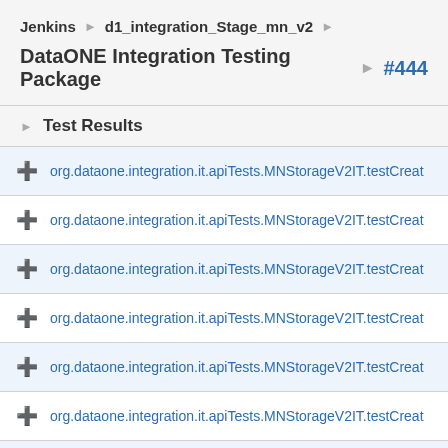Jenkins ▶ d1_integration_Stage_mn_v2 ▶
DataONE Integration Testing Package ▶ #444
▶ Test Results
+ org.dataone.integration.it.apiTests.MNStorageV2IT.testCreat…
+ org.dataone.integration.it.apiTests.MNStorageV2IT.testCreat…
+ org.dataone.integration.it.apiTests.MNStorageV2IT.testCreat…
+ org.dataone.integration.it.apiTests.MNStorageV2IT.testCreat…
+ org.dataone.integration.it.apiTests.MNStorageV2IT.testCreat…
+ org.dataone.integration.it.apiTests.MNStorageV2IT.testCreat…
+ org.dataone.integration.it.apiTests.MNStorageV2IT.testCreat…
+ org.dataone.integration.it.apiTests.MNStorageV2IT.testCreat…
+ org.dataone.integration.it.apiTests.MNStorageV2IT.testCreat…